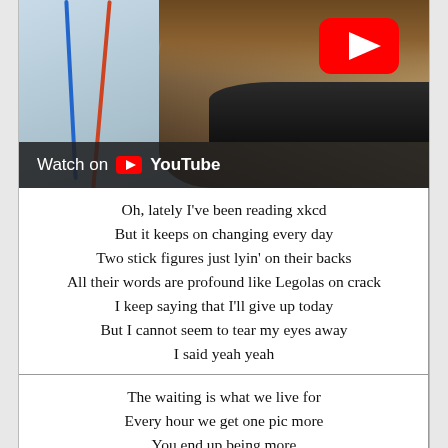[Figure (screenshot): YouTube video thumbnail showing a person with brown hair smiling, blue and orange lines in background, YouTube play button overlay, and 'Watch on YouTube' bar at bottom]
Oh, lately I've been reading xkcd
But it keeps on changing every day
Two stick figures just lyin' on their backs
All their words are profound like Legolas on crack
I keep saying that I'll give up today
But I cannot seem to tear my eyes away
I said yeah yeah
The waiting is what we live for
Every hour we get one pic more
You end up being more